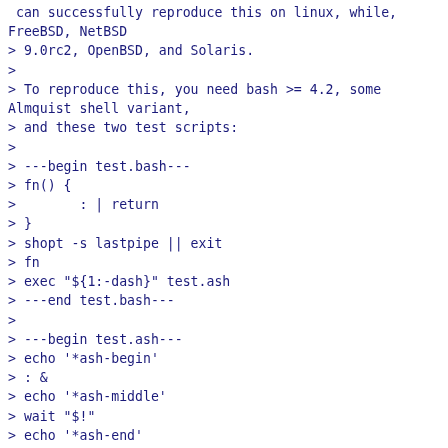> 9.0rc2, OpenBSD, and Solaris.
>
> To reproduce this, you need bash >= 4.2, some Almquist shell variant,
> and these two test scripts:
>
> ---begin test.bash---
> fn() {
>        : | return
> }
> shopt -s lastpipe || exit
> fn
> exec "${1:-dash}" test.ash
> ---end test.bash---
>
> ---begin test.ash---
> echo '*ash-begin'
> : &
> echo '*ash-middle'
> wait "$!"
> echo '*ash-end'
> ---end test.ash---
>
> When executing test.bash with dash, gwsh, Busybox ash, or FreeBSD sh,
> then test.ash simply waits forever on executing 'wait "$!"'.

Nice test. bash leaves the process in a state where